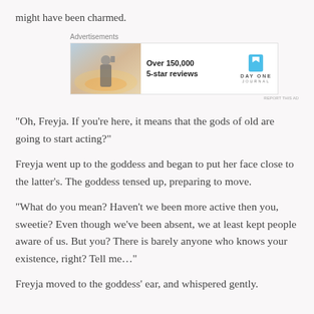might have been charmed.
[Figure (other): Advertisement banner for Day One Journal app showing a person photographing a sunset, with text 'Over 150,000 5-star reviews' and the Day One Journal logo]
“Oh, Freyja. If you’re here, it means that the gods of old are going to start acting?”
Freyja went up to the goddess and began to put her face close to the latter’s. The goddess tensed up, preparing to move.
“What do you mean? Haven’t we been more active then you, sweetie? Even though we’ve been absent, we at least kept people aware of us. But you? There is barely anyone who knows your existence, right? Tell me…”
Freyja moved to the goddess’ ear, and whispered gently.